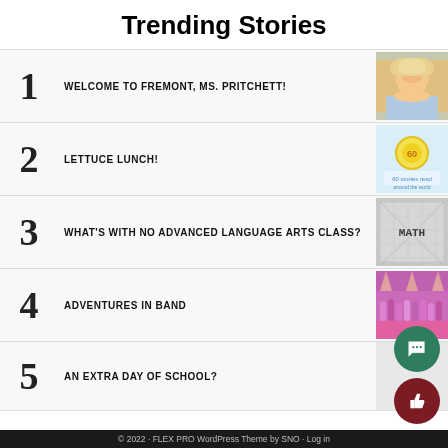Trending Stories
1 WELCOME TO FREMONT, MS. PRITCHETT!
2 LETTUCE LUNCH!
3 WHAT'S WITH NO ADVANCED LANGUAGE ARTS CLASS?
4 ADVENTURES IN BAND
5 AN EXTRA DAY OF SCHOOL?
© 2022 · FLEX PRO WordPress Theme by SNO · Log in